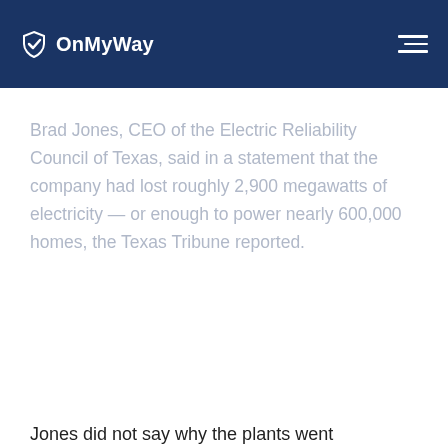OnMyWay
Brad Jones, CEO of the Electric Reliability Council of Texas, said in a statement that the company had lost roughly 2,900 megawatts of electricity — or enough to power nearly 600,000 homes, the Texas Tribune reported.
Jones did not say why the plants went